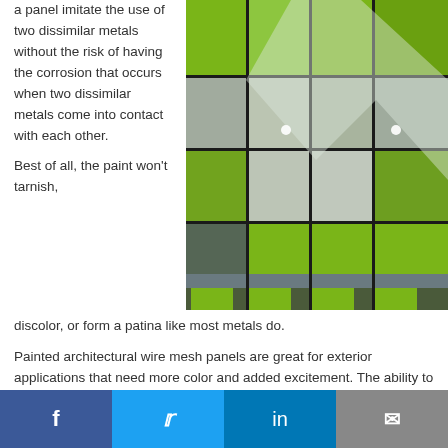a panel imitate the use of two dissimilar metals without the risk of having the corrosion that occurs when two dissimilar metals come into contact with each other.
Best of all, the paint won't tarnish, discolor, or form a patina like most metals do.
[Figure (photo): Exterior architectural wire mesh panels on a building facade, featuring green and grey/silver mesh panels arranged in a grid pattern with geometric shapes visible through the mesh.]
Painted architectural wire mesh panels are great for exterior applications that need more color and added excitement. The ability to match company branding directly on the mesh also means you can eliminate signage packages and reallocate those
f  [Twitter bird]  in  [envelope]